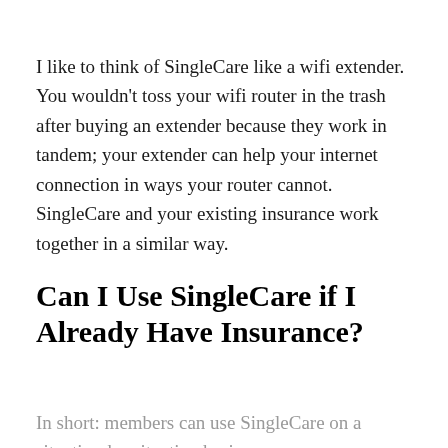I like to think of SingleCare like a wifi extender. You wouldn't toss your wifi router in the trash after buying an extender because they work in tandem; your extender can help your internet connection in ways your router cannot. SingleCare and your existing insurance work together in a similar way.
Can I Use SingleCare if I Already Have Insurance?
In short: members can use SingleCare on a situation-by-situation basis.